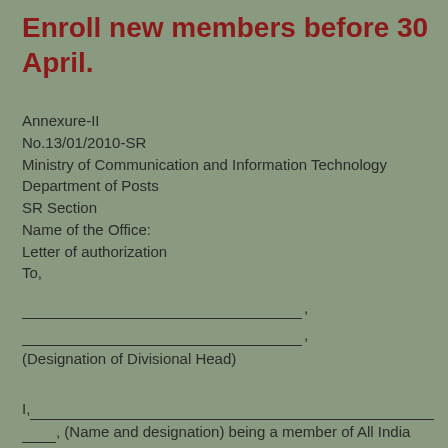Enroll new members before 30 April.
Annexure-II
No.13/01/2010-SR
Ministry of Communication and Information Technology
Department of Posts
SR Section
Name of the Office:
Letter of authorization
To,
___________________________, (line 1)
___________________________, (line 2)
(Designation of Divisional Head)
I,_________________________________________
___, (Name and designation) being a member of All India Postal Employees Union-Postman/Group-D hereby authorize deduction of monthly subscription of Rs. _____ per month from my salary starting from the month of ____________ payable on                    and authorize its payment to